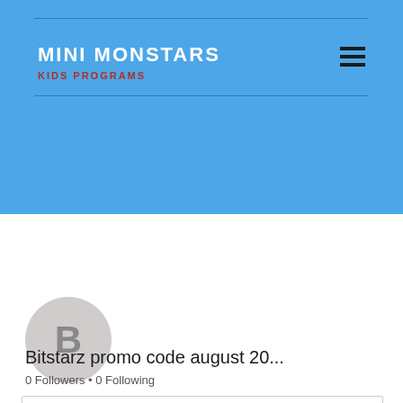MINI MONSTARS
KIDS PROGRAMS
[Figure (screenshot): Blue header banner with site title MINI MONSTARS and subtitle KIDS PROGRAMS, with hamburger menu icon]
[Figure (photo): Dark red/brown profile banner background with Follow button and three-dot menu, and circular gray avatar with letter B]
Bitstarz promo code august 20...
0 Followers • 0 Following